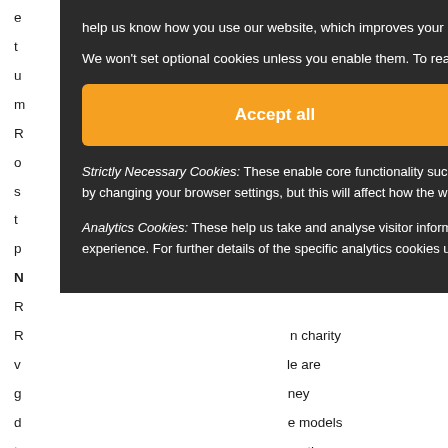e help us know how you use our website, which improves your online experience and our services. [partial] We won't set optional cookies unless you enable them. To read more about how we use cookies, see our Cookies Policy. [partial background text visible]
Strictly Necessary Cookies: These enable core functionality such as logging in and volunteer search preferences. You may disable these by changing your browser settings, but this will affect how the website functions.
Analytics Cookies: These help us take and analyse visitor information, which assists us to improve our website and your user experience. For further details of the specific analytics cookies used and to enable/disable such analytics cookies, please click here.
Background article text: ...the UK ...ation and ...re about ...lved, ...n charity ...le are ...ney ...e models ...are them ...ate. Over ...ed 2.5 million students to inspire hope and ambition, and influence